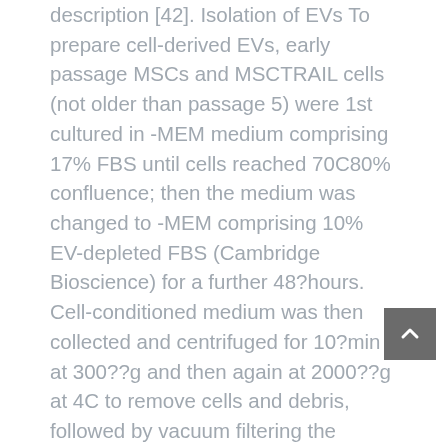description [42]. Isolation of EVs To prepare cell-derived EVs, early passage MSCs and MSCTRAIL cells (not older than passage 5) were 1st cultured in -MEM medium comprising 17% FBS until cells reached 70C80% confluence; then the medium was changed to -MEM comprising 10% EV-depleted FBS (Cambridge Bioscience) for a further 48?hours. Cell-conditioned medium was then collected and centrifuged for 10?min at 300??g and then again at 2000??g at 4C to remove cells and debris, followed by vacuum filtering the medium through 0.22 m filters (Merck Millipore) to remove large vesicles, concentrating the medium five instances using 100-kDa MWCO centrifugal filtering columns (Merck Millipore, UK) and finally ultracentrifuging for 2?hours at 100,000??g at 4C. The acquired EV products were washed twice with 0.22 m membrane-filtered phosphate-buffered saline (PBS) and finally resuspended in PBS for storage in ?80C until use. On the other hand, the isolated EVs were lysed in